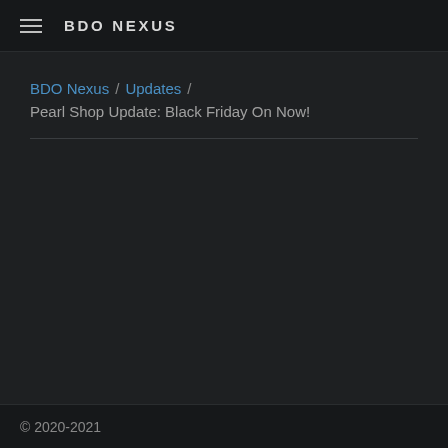BDO NEXUS
BDO Nexus / Updates / Pearl Shop Update: Black Friday On Now!
© 2020-2021